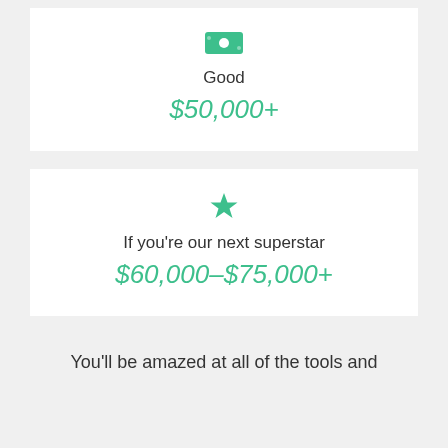[Figure (infographic): Green money/cash icon]
Good
$50,000+
[Figure (infographic): Green star icon]
If you're our next superstar
$60,000–$75,000+
You'll be amazed at all of the tools and